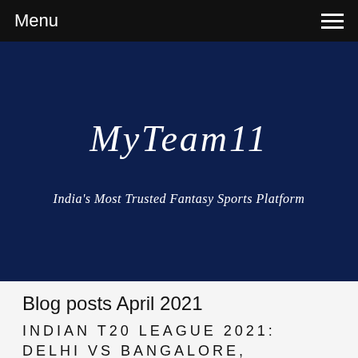Menu
MyTeam11
India's Most Trusted Fantasy Sports Platform
Blog posts April 2021
INDIAN T20 LEAGUE 2021: DELHI VS BANGALORE,